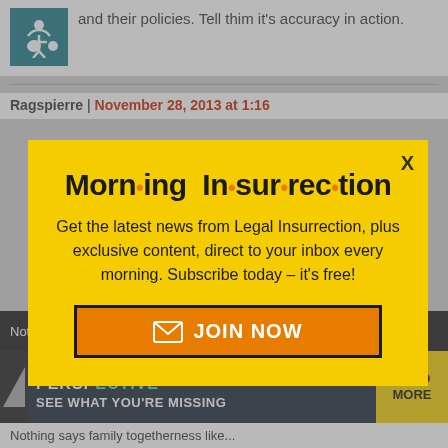and their policies. Tell thim it's accuracy in action.
Ragspierre | November 28, 2013 at 1:16
[Figure (infographic): Morning Insurrection newsletter signup modal popup with yellow background, orange dot separators in title, JOIN NOW button, and close X button]
Not A Member of Organized Political
[Figure (infographic): THE PERSPECTIVE advertisement banner with teal and white text reading SEE WHAT YOU'RE MISSING and READ MORE button]
Nothing says family togetherness like...